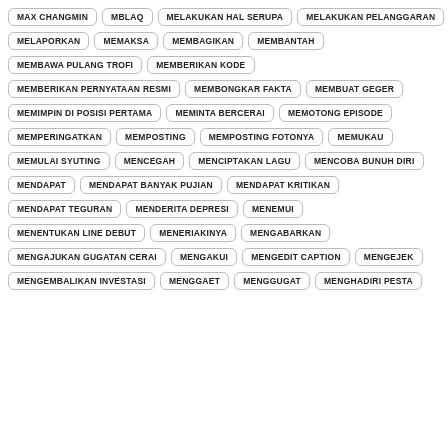MAX CHANGMIN
MBLAQ
MELAKUKAN HAL SERUPA
MELAKUKAN PELANGGARAN
MELAPORKAN
MEMAKSA
MEMBAGIKAN
MEMBANTAH
MEMBAWA PULANG TROFI
MEMBERIKAN KODE
MEMBERIKAN PERNYATAAN RESMI
MEMBONGKAR FAKTA
MEMBUAT GEGER
MEMIMPIN DI POSISI PERTAMA
MEMINTA BERCERAI
MEMOTONG EPISODE
MEMPERINGATKAN
MEMPOSTING
MEMPOSTING FOTONYA
MEMUKAU
MEMULAI SYUTING
MENCEGAH
MENCIPTAKAN LAGU
MENCOBA BUNUH DIRI
MENDAPAT
MENDAPAT BANYAK PUJIAN
MENDAPAT KRITIKAN
MENDAPAT TEGURAN
MENDERITA DEPRESI
MENEMUI
MENENTUKAN LINE DEBUT
MENERIAKINYA
MENGABARKAN
MENGAJUKAN GUGATAN CERAI
MENGAKUI
MENGEDIT CAPTION
MENGEJEK
MENGEMBALIKAN INVESTASI
MENGGAET
MENGGUGAT
MENGHADIRI PESTA